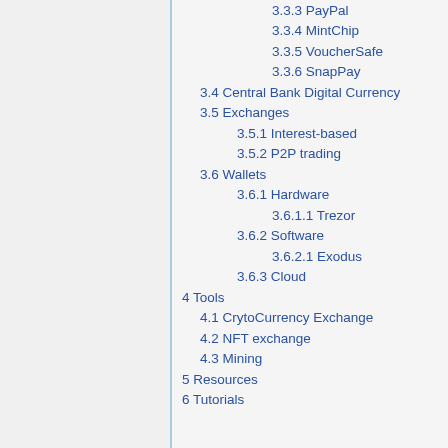3.3.3 PayPal
3.3.4 MintChip
3.3.5 VoucherSafe
3.3.6 SnapPay
3.4 Central Bank Digital Currency
3.5 Exchanges
3.5.1 Interest-based
3.5.2 P2P trading
3.6 Wallets
3.6.1 Hardware
3.6.1.1 Trezor
3.6.2 Software
3.6.2.1 Exodus
3.6.3 Cloud
4 Tools
4.1 CrytoCurrency Exchange
4.2 NFT exchange
4.3 Mining
5 Resources
6 Tutorials